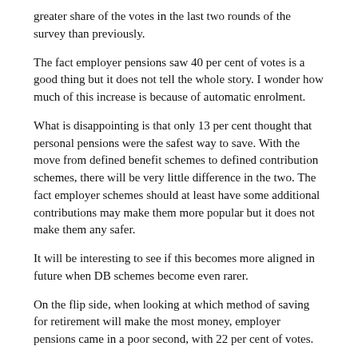greater share of the votes in the last two rounds of the survey than previously.
The fact employer pensions saw 40 per cent of votes is a good thing but it does not tell the whole story. I wonder how much of this increase is because of automatic enrolment.
What is disappointing is that only 13 per cent thought that personal pensions were the safest way to save. With the move from defined benefit schemes to defined contribution schemes, there will be very little difference in the two. The fact employer schemes should at least have some additional contributions may make them more popular but it does not make them any safer.
It will be interesting to see if this becomes more aligned in future when DB schemes become even rarer.
On the flip side, when looking at which method of saving for retirement will make the most money, employer pensions came in a poor second, with 22 per cent of votes.
The top spot went to property with 40 per cent. Whilst this is...